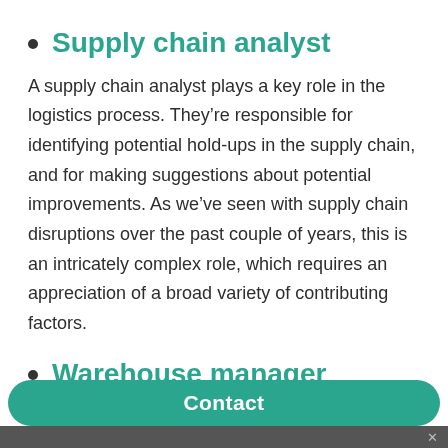Supply chain analyst
A supply chain analyst plays a key role in the logistics process. They’re responsible for identifying potential hold-ups in the supply chain, and for making suggestions about potential improvements. As we’ve seen with supply chain disruptions over the past couple of years, this is an intricately complex role, which requires an appreciation of a broad variety of contributing factors.
Warehouse manager
process, and the warehouse manager is